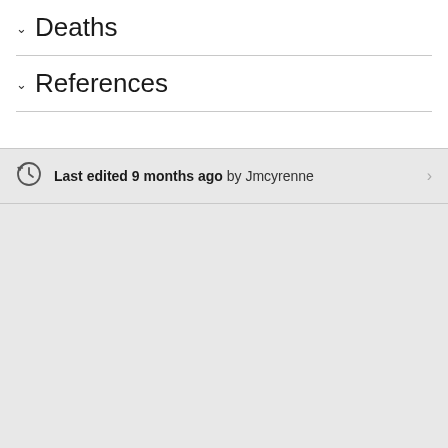Deaths
References
Last edited 9 months ago by Jmcyrenne